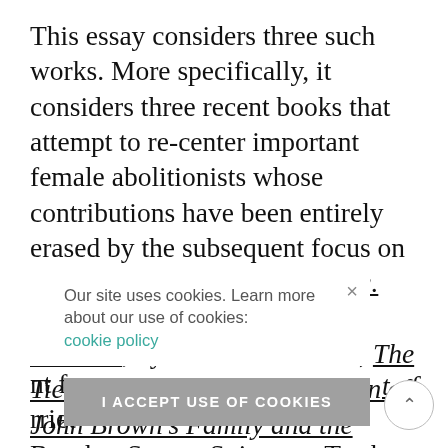This essay considers three such works. More specifically, it considers three recent books that attempt to re-center important female abolitionists whose contributions have been entirely erased by the subsequent focus on famous male abolitionists: Mrs. Dred Scott: A Life on Slavery's Frontier, by Lea VanderVelde; The Tie That Bound Us: The Women of John Brown's Family and the Legacy of Radical Abolitionism, by Bonnie Laughlin-Schultz; and, counterintuitive though it [continues] ...nt from ...rriet Beecher Stowe, Sojourner Truth, Lucretia Mott,
Our site uses cookies. Learn more about our use of cookies: cookie policy [I ACCEPT USE OF COOKIES button] [close ×]